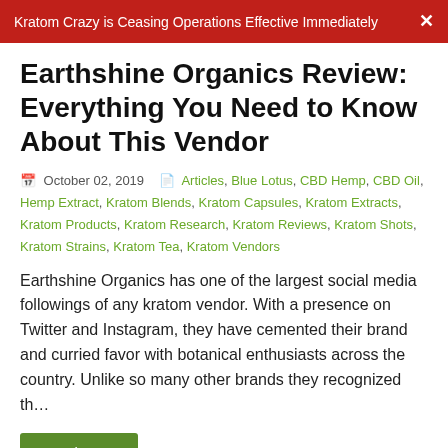Kratom Crazy is Ceasing Operations Effective Immediately
Earthshine Organics Review: Everything You Need to Know About This Vendor
October 02, 2019  Articles, Blue Lotus, CBD Hemp, CBD Oil, Hemp Extract, Kratom Blends, Kratom Capsules, Kratom Extracts, Kratom Products, Kratom Research, Kratom Reviews, Kratom Shots, Kratom Strains, Kratom Tea, Kratom Vendors
Earthshine Organics has one of the largest social media followings of any kratom vendor. With a presence on Twitter and Instagram, they have cemented their brand and curried favor with botanical enthusiasts across the country. Unlike so many other brands they recognized th…
Read More
Green Leo Herbals Review: A